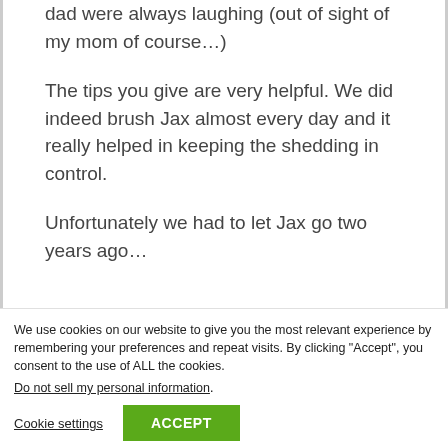dad were always laughing (out of sight of my mom of course…)
The tips you give are very helpful. We did indeed brush Jax almost every day and it really helped in keeping the shedding in control.
Unfortunately we had to let Jax go two years ago…
We use cookies on our website to give you the most relevant experience by remembering your preferences and repeat visits. By clicking “Accept”, you consent to the use of ALL the cookies. Do not sell my personal information.
Cookie settings
ACCEPT